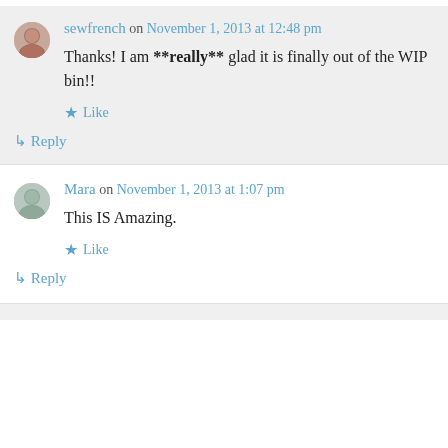sewfrench on November 1, 2013 at 12:48 pm
Thanks! I am **really** glad it is finally out of the WIP bin!!
Like
Reply
Mara on November 1, 2013 at 1:07 pm
This IS Amazing.
Like
Reply